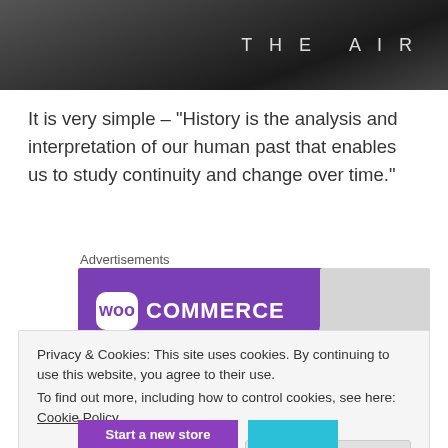[Figure (photo): Black and white photo showing text 'THE AIR' in spaced letters on a dark surface]
It is very simple – “History is the analysis and interpretation of our human past that enables us to study continuity and change over time.”
Advertisements
[Figure (logo): WooCommerce logo on purple background]
Privacy & Cookies: This site uses cookies. By continuing to use this website, you agree to their use.
To find out more, including how to control cookies, see here: Cookie Policy